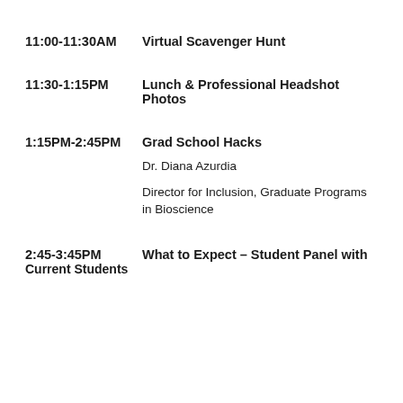11:00-11:30AM   Virtual Scavenger Hunt
11:30-1:15PM   Lunch & Professional Headshot Photos
1:15PM-2:45PM   Grad School Hacks
Dr. Diana Azurdia
Director for Inclusion, Graduate Programs in Bioscience
2:45-3:45PM   What to Expect – Student Panel with Current Students